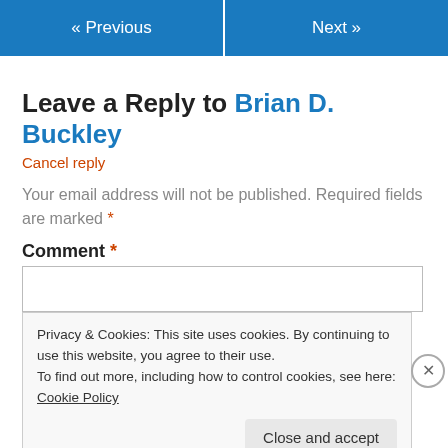« Previous   Next »
Leave a Reply to Brian D. Buckley
Cancel reply
Your email address will not be published. Required fields are marked *
Comment *
Privacy & Cookies: This site uses cookies. By continuing to use this website, you agree to their use.
To find out more, including how to control cookies, see here: Cookie Policy